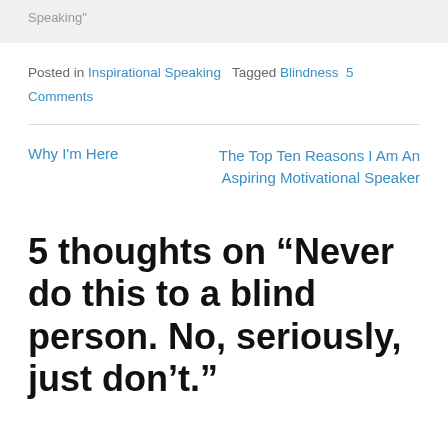Speaking"
Posted in Inspirational Speaking   Tagged Blindness   5 Comments
Why I'm Here   |   The Top Ten Reasons I Am An Aspiring Motivational Speaker
5 thoughts on “Never do this to a blind person. No, seriously, just don’t.”